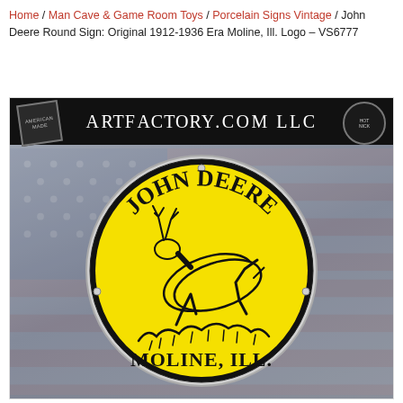Home / Man Cave & Game Room Toys / Porcelain Signs Vintage / John Deere Round Sign: Original 1912-1936 Era Moline, Ill. Logo – VS6777
[Figure (photo): Product photo of a round John Deere porcelain sign with yellow background, black leaping deer logo, text reading JOHN DEERE MOLINE, ILL., displayed against an American flag background. ArtFactory.com LLC header bar at top.]